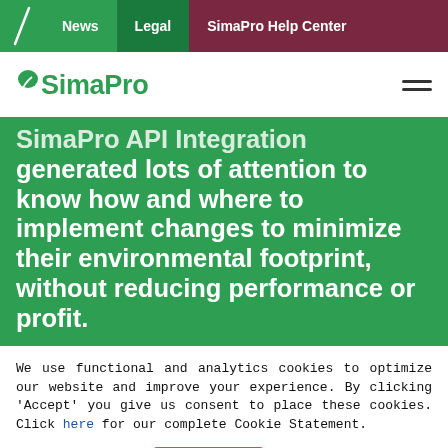News | Legal | SimaPro Help Center
[Figure (logo): SimaPro logo with green leaf icon and hamburger menu icon]
SimaPro API Integration generated lots of attention to know how and where to implement changes to minimize their environmental footprint, without reducing performance or profit.
We use functional and analytics cookies to optimize our website and improve your experience. By clicking 'Accept' you give us consent to place these cookies. Click here for our complete Cookie Statement.
Cookie settings | Accept All